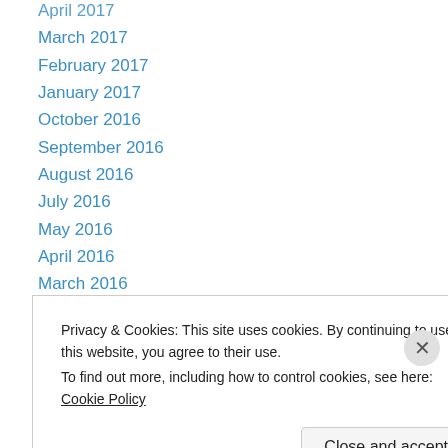April 2017
March 2017
February 2017
January 2017
October 2016
September 2016
August 2016
July 2016
May 2016
April 2016
March 2016
February 2016
January 2016
December 2015
Privacy & Cookies: This site uses cookies. By continuing to use this website, you agree to their use.
To find out more, including how to control cookies, see here: Cookie Policy
Close and accept